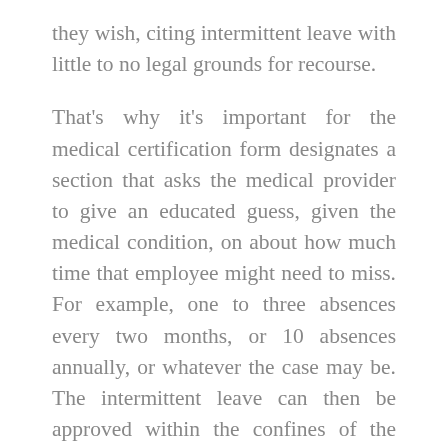they wish, citing intermittent leave with little to no legal grounds for recourse.
That's why it's important for the medical certification form designates a section that asks the medical provider to give an educated guess, given the medical condition, on about how much time that employee might need to miss. For example, one to three absences every two months, or 10 absences annually, or whatever the case may be. The intermittent leave can then be approved within the confines of the provider's recommendation. If the employee does start missing more time then what they were approved for, the employer can then request an updated medical certification validating the increase of absences.